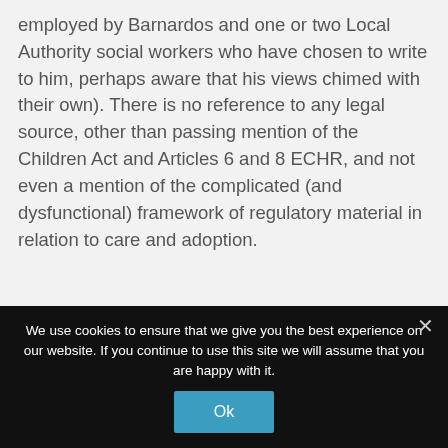employed by Barnardos and one or two Local Authority social workers who have chosen to write to him, perhaps aware that his views chimed with their own). There is no reference to any legal source, other than passing mention of the Children Act and Articles 6 and 8 ECHR, and not even a mention of the complicated (and dysfunctional) framework of regulatory material in relation to care and adoption.
We use cookies to ensure that we give you the best experience on our website. If you continue to use this site we will assume that you are happy with it.